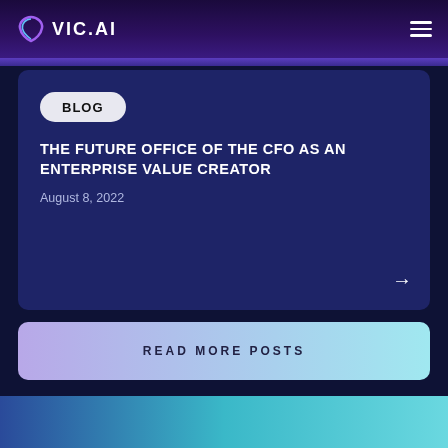VIC.AI
BLOG
THE FUTURE OFFICE OF THE CFO AS AN ENTERPRISE VALUE CREATOR
August 8, 2022
READ MORE POSTS